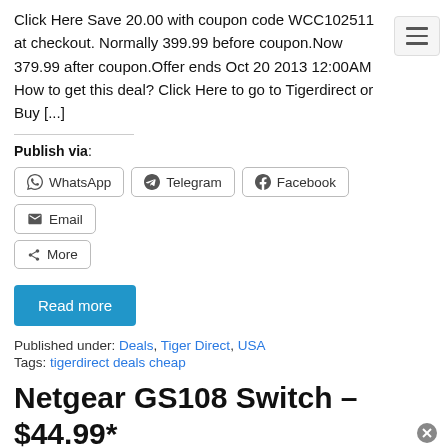Click Here Save 20.00 with coupon code WCC102511 at checkout. Normally 399.99 before coupon.Now 379.99 after coupon.Offer ends Oct 20 2013 12:00AM How to get this deal? Click Here to go to Tigerdirect or Buy [...]
Publish via:
WhatsApp | Telegram | Facebook | Email | More
Read more
Published under: Deals, Tiger Direct, USA
Tags: tigerdirect deals cheap
Netgear GS108 Switch – $44.99*